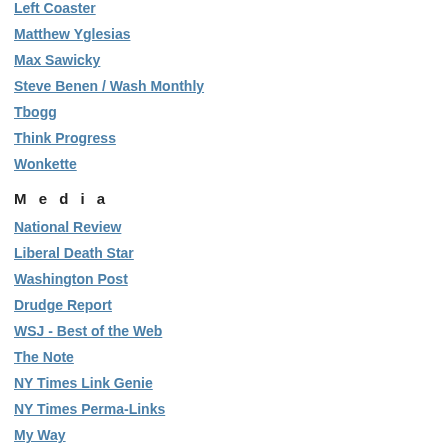Left Coaster
Matthew Yglesias
Max Sawicky
Steve Benen / Wash Monthly
Tbogg
Think Progress
Wonkette
M e d i a
National Review
Liberal Death Star
Washington Post
Drudge Report
WSJ - Best of the Web
The Note
NY Times Link Genie
NY Times Perma-Links
My Way
(c) Has Hotline checked the availaibilty o...
(d) Kerry is a liberal Northeasterner. Wh... represented in military recruiting (Go W... that wealthy white liberal Northeasterner... recruiting. In Kerry's milieu, people don't... enlist. Kerry himself only enlisted after h... here; more in the CS Monitor.]
Look, it may not be fair to characterize D... service is a last choice rather than a first... believe that of Dems, and not entirely wit... read Kerry's remark and immediately thin... alternative example, if Kerry had been qu... have immediately assumed his mouth ha... happened before.
Post...
Comments
And if you really blow off colle... Dem Senator from Massachu...